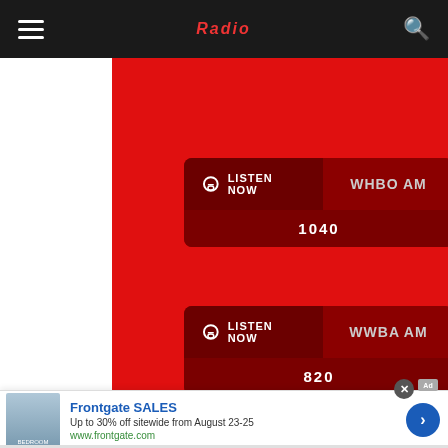Navigation bar with hamburger menu and search icon
[Figure (screenshot): Red radio station panel with two listen-now buttons: WHBO AM 1040 and WWBA AM 820]
[Figure (screenshot): Blue advertisement banner for Assorted design.com, Website Design & Digital Marketing, phone (800) 975-6577]
[Figure (screenshot): Bottom ad banner for Frontgate SALES - Up to 30% off sitewide from August 23-25, www.frontgate.com]